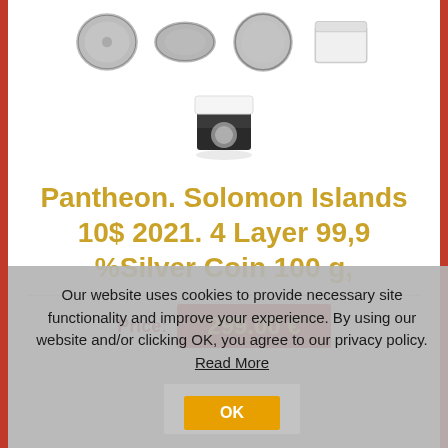[Figure (photo): Row of four coin/collectible images at top: two coin faces, one coin reverse, one white box]
[Figure (photo): Black presentation box with coin inside, centered below top row]
Pantheon. Solomon Islands 10$ 2021. 4 Layer 99,9 %Silver Coin 100 g,
Price: 299.00 €
Our website uses cookies to provide necessary site functionality and improve your experience. By using our website and/or clicking OK, you agree to our privacy policy. Read More